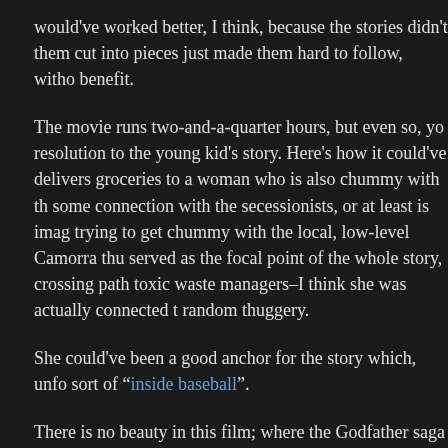would've worked better, I think, because the stories didn't them cut into pieces just made them hard to follow, witho benefit.
The movie runs two-and-a-quarter hours, but even so, yo resolution to the young kid's story. Here's how it could've delivers groceries to a woman who is also chummy with th some connection with the secessionists, or at least is imag trying to get chummy with the local, low-level Camorra thu served as the focal point of the whole story, crossing path toxic waste managers–I think she was actually connected t random thuggery.
She could've been a good anchor for the story which, unfo sort of "inside baseball".
There is no beauty in this film; where the Godfather saga a gorgeous colors and impeccable fashion in opulent surro film wear cheap track suits or t-shirts celebrating sport